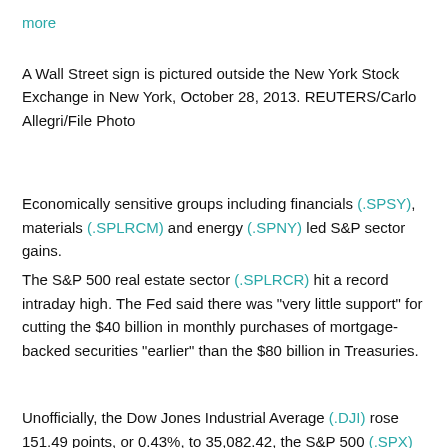more
A Wall Street sign is pictured outside the New York Stock Exchange in New York, October 28, 2013. REUTERS/Carlo Allegri/File Photo
Economically sensitive groups including financials (.SPSY), materials (.SPLRCM) and energy (.SPNY) led S&P sector gains.
The S&P 500 real estate sector (.SPLRCR) hit a record intraday high. The Fed said there was "very little support" for cutting the $40 billion in monthly purchases of mortgage-backed securities "earlier" than the $80 billion in Treasuries.
Unofficially, the Dow Jones Industrial Average (.DJI) rose 151.49 points, or 0.43%, to 35,082.42, the S&P 500 (.SPX) gained 18.31 points, or 0.42%, to 4,418.95 and the Nasdaq Composite (.IXIC) added 15.67 points, or 0.11%, to 14,778.26.
On the down side, Facebook Inc (FB.O) shares fell as the company